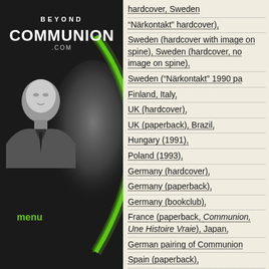[Figure (illustration): Left dark panel with Beyond Communion .com logo at top (white text), black-and-white photo of a man in suit, green glowing orb/arc graphic, and green 'menu' link text at bottom left.]
hardcover, Sweden
("Närkontakt" hardcover),
Sweden (hardcover with image on spine), Sweden (hardcover, no image on spine),
Sweden ("Närkontakt" 1990 pa
Finland, Italy,
UK (hardcover),
UK (paperback), Brazil,
Hungary (1991),
Poland (1993),
Germany (hardcover),
Germany (paperback),
Germany (bookclub),
France (paperback, Communion, Une Histoire Vraie), Japan,
German pairing of Communion
Spain (paperback),
Belgium (paperback),